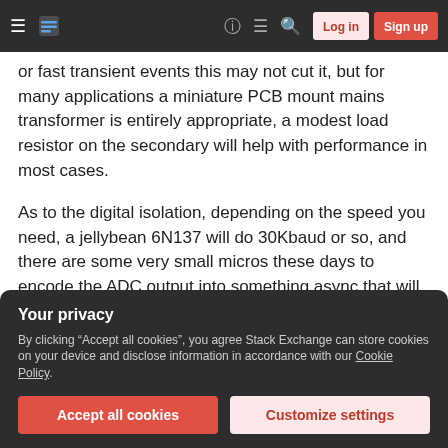Stack Exchange navigation bar with hamburger menu, logo, help, chat, search icons, Log in and Sign up buttons
or fast transient events this may not cut it, but for many applications a miniature PCB mount mains transformer is entirely appropriate, a modest load resistor on the secondary will help with performance in most cases.
As to the digital isolation, depending on the speed you need, a jellybean 6N137 will do 30Kbaud or so, and there are some very small micros these days to encode the ADC output into something async that will pass the opto...
Your privacy
By clicking "Accept all cookies", you agree Stack Exchange can store cookies on your device and disclose information in accordance with our Cookie Policy.
the marketing department write the front page of the